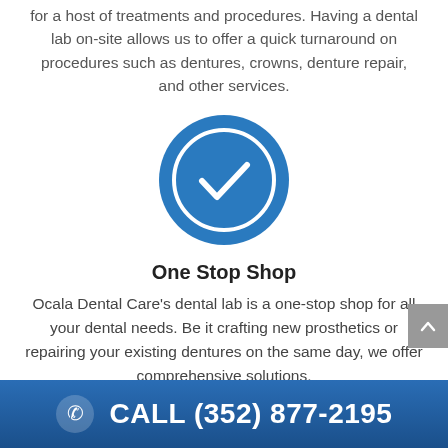for a host of treatments and procedures. Having a dental lab on-site allows us to offer a quick turnaround on procedures such as dentures, crowns, denture repair, and other services.
[Figure (illustration): Blue circle icon with a white checkmark inside a white ring]
One Stop Shop
Ocala Dental Care's dental lab is a one-stop shop for all your dental needs. Be it crafting new prosthetics or repairing your existing dentures on the same day, we offer comprehensive solutions.
CALL (352) 877-2195